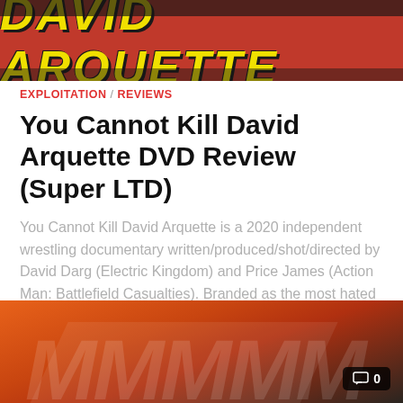[Figure (photo): Red banner image with bold yellow italic text reading DAVID ARQUETTE on a dark/red background]
EXPLOITATION / REVIEWS
You Cannot Kill David Arquette DVD Review (Super LTD)
You Cannot Kill David Arquette is a 2020 independent wrestling documentary written/produced/shot/directed by David Darg (Electric Kingdom) and Price James (Action Man: Battlefield Casualties). Branded as the most hated man in wrestling after winning...
[Figure (photo): Partial bottom image showing colorful wrestling-related imagery in orange and red tones, with a comment badge showing 0 comments]